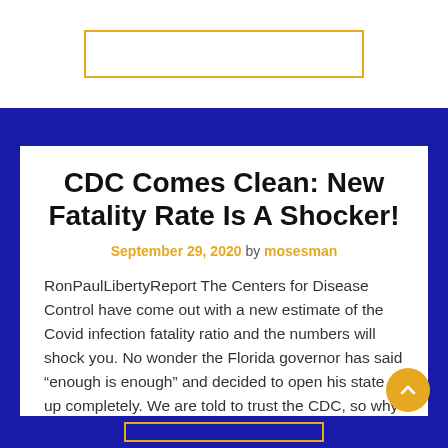CDC Comes Clean: New Fatality Rate Is A Shocker!
September 29, 2020 by mosesman
RonPaulLibertyReport The Centers for Disease Control have come out with a new estimate of the Covid infection fatality ratio and the numbers will shock you. No wonder the Florida governor has said “enough is enough” and decided to open his state up completely. We are told to trust the CDC, so why is the mainstream …